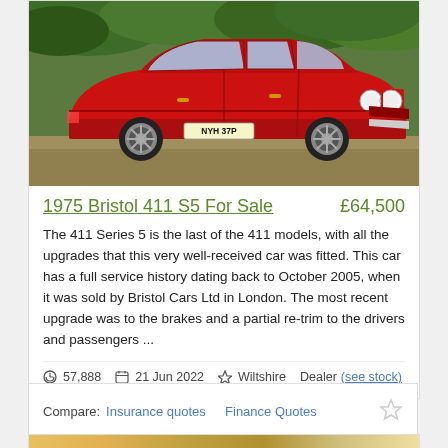[Figure (photo): Red 1975 Bristol 411 S5 car photographed outdoors on a gravel surface with green foliage in the background. License plate reads NYH 37P.]
1975 Bristol 411 S5 For Sale
£64,500
The 411 Series 5 is the last of the 411 models, with all the upgrades that this very well-received car was fitted. This car has a full service history dating back to October 2005, when it was sold by Bristol Cars Ltd in London. The most recent upgrade was to the brakes and a partial re-trim to the drivers and passengers ...
57,888   21 Jun 2022   Wiltshire   Dealer (see stock)
Compare:  Insurance quotes   Finance Quotes